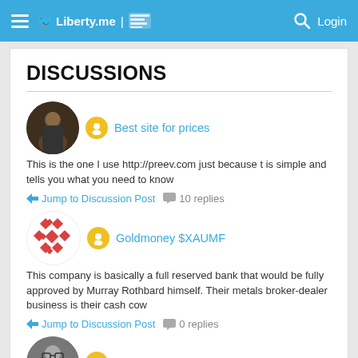Liberty.me | Login
DISCUSSIONS
Best site for prices
This is the one I use http://preev.com just because t is simple and tells you what you need to know
Jump to Discussion Post  10 replies
Goldmoney $XAUMF
This company is basically a full reserved bank that would be fully approved by Murray Rothbard himself. Their metals broker-dealer business is their cash cow
Jump to Discussion Post  0 replies
Latest Crypto Updates
Australian Beach Town, Agnes Water to Become Nation's First Digital Currency Town Agnes Water, Australian Beach town is a reckoning as the nation's first digital